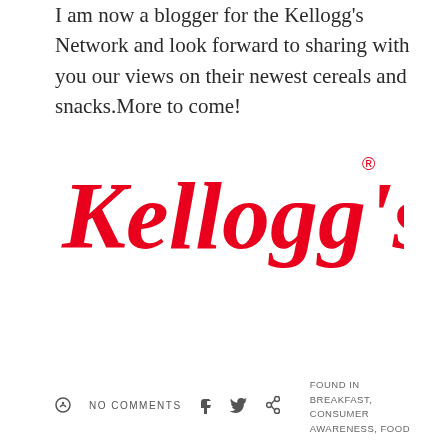I am now a blogger for the Kellogg's Network and look forward to sharing with you our views on their newest cereals and snacks. More to come!
[Figure (logo): Kellogg's red cursive logo with registered trademark symbol]
NO COMMENTS
FOUND IN BREAKFAST, CONSUMER AWARENESS, FOOD
YOU MAY ALSO LIKE
[Figure (photo): Take the Pledge badge with green rounded rectangle and red cursive script]
[Figure (photo): Dark background image with text: PLEASE HELP US WIN THE FIGHT AGAINST ANIMAL CANCER. DONATE AT PETTRUST.O]